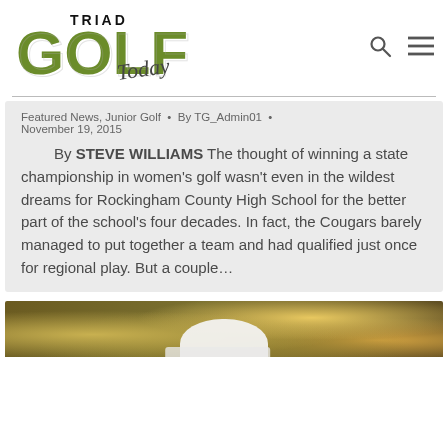[Figure (logo): Triad Golf Today logo with large green GOLF text and script 'Today' underneath, with 'TRIAD' in black above]
Featured News, Junior Golf • By TG_Admin01 • November 19, 2015
By STEVE WILLIAMS The thought of winning a state championship in women's golf wasn't even in the wildest dreams for Rockingham County High School for the better part of the school's four decades. In fact, the Cougars barely managed to put together a team and had qualified just once for regional play. But a couple…
[Figure (photo): Partial photo of a golfer wearing a white cap, with colorful bokeh background]